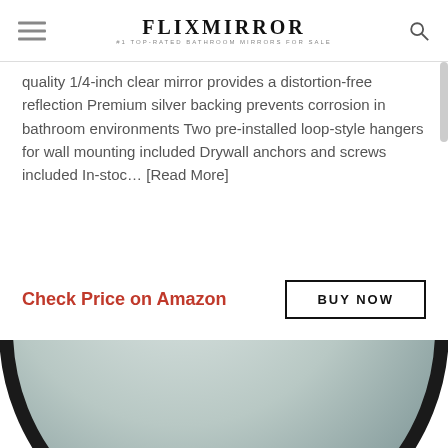FLIXMIRROR #1 TOP-RATED BATHROOM MIRRORS FOR SALE
quality 1/4-inch clear mirror provides a distortion-free reflection Premium silver backing prevents corrosion in bathroom environments Two pre-installed loop-style hangers for wall mounting included Drywall anchors and screws included In-stoc… [Read More]
Check Price on Amazon
BUY NOW
[Figure (photo): Round bathroom mirror with black frame, upper portion visible against white background]